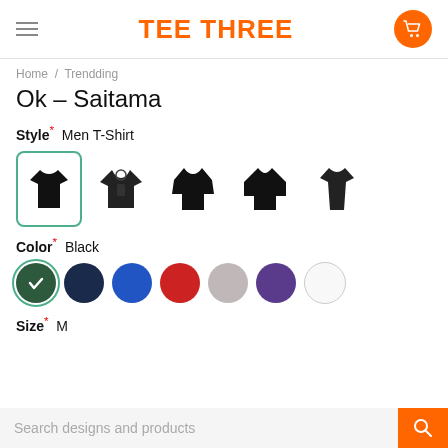TEE THREE
Home / Trendding
Ok – Saitama
Style* Men T-Shirt
[Figure (illustration): Five garment style icons in black: t-shirt (selected with teal border), hoodie, sweatshirt, long-sleeve shirt, women t-shirt]
Color* Black
[Figure (illustration): Seven color swatches: black (selected with green outline and checkmark), navy, blue, red, grey, purple, white]
Size* M
Search designs and products